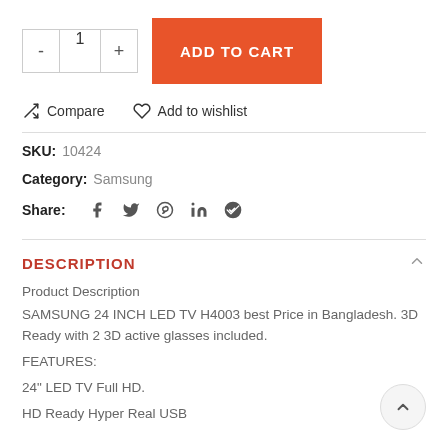[Figure (screenshot): E-commerce product page section showing quantity selector, Add to Cart button, Compare and Add to wishlist links, SKU, Category, Share icons, and product description for a Samsung LED TV.]
Compare
Add to wishlist
SKU: 10424
Category: Samsung
Share:
DESCRIPTION
Product Description
SAMSUNG 24 INCH LED TV H4003 best Price in Bangladesh. 3D Ready with 2 3D active glasses included.
FEATURES:
24" LED TV Full HD.
HD Ready Hyper Real USB